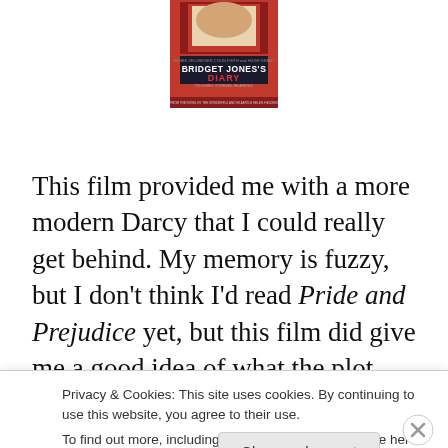[Figure (illustration): Movie poster for Bridget Jones's Diary showing book and text]
This film provided me with a more modern Darcy that I could really get behind. My memory is fuzzy, but I don't think I'd read Pride and Prejudice yet, but this film did give me a good idea of what the plot contained. Now, having read the book, I know Bridget is not the modern adaptation
Privacy & Cookies: This site uses cookies. By continuing to use this website, you agree to their use.
To find out more, including how to control cookies, see here: Cookie Policy
Close and accept